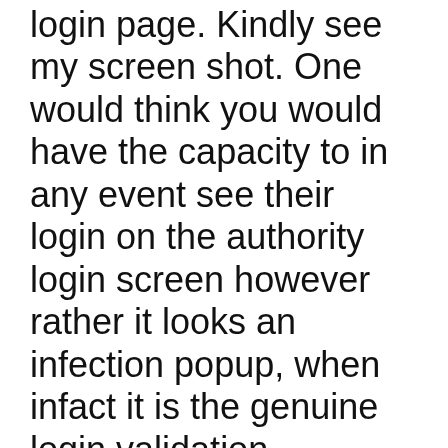login page. Kindly see my screen shot. One would think you would have the capacity to in any event see their login on the authority login screen however rather it looks an infection popup, when infact it is the genuine login validation.
Overall Feedback